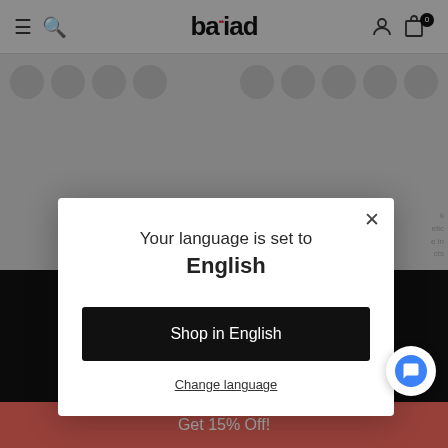baiiad
Your language is set to English
Shop in English
Change language
Got it!
Get 15% Off!